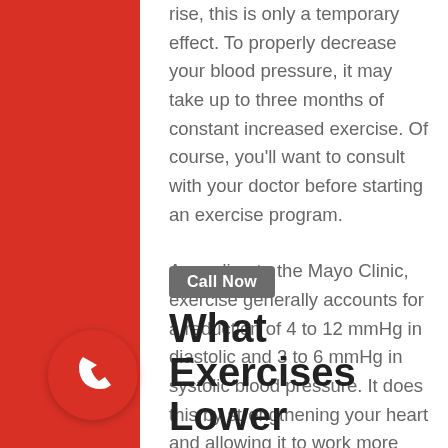rise, this is only a temporary effect. To properly decrease your blood pressure, it may take up to three months of constant increased exercise. Of course, you'll want to consult with your doctor before starting an exercise program.
According to the Mayo Clinic, exercise generally accounts for a reduction of 4 to 12 mmHg in diastolic and 3 to 6 mmHg in systolic blood pressure. It does this by strengthening your heart and allowing it to work more effectively and able to pump more blood with less effort. Exercise also helps you maintain a healthy weight and lower stress levels, which are both leading causes of high blood pressure.
Call Now
What Exercises Lower